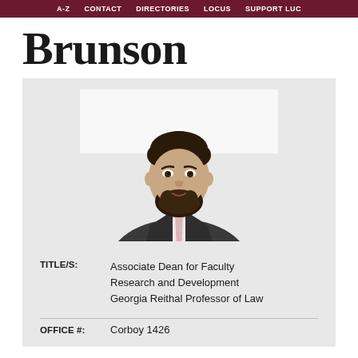A-Z  CONTACT  DIRECTORIES  LOCUS  SUPPORT LUC
Brunson
[Figure (photo): Professional headshot of a man with dark curly hair and beard, wearing a dark suit jacket, white shirt, and pink/white striped tie, photographed against a white background.]
TITLE/S:    Associate Dean for Faculty Research and Development
Georgia Reithal Professor of Law
OFFICE #:    Corboy 1426